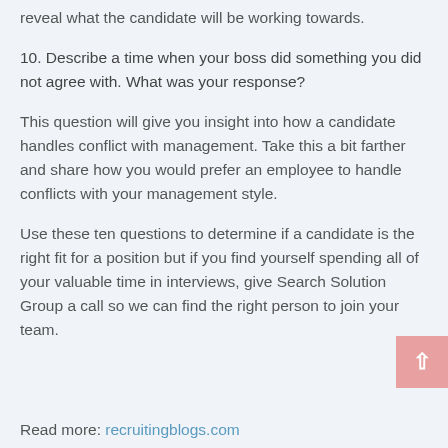reveal what the candidate will be working towards.
10. Describe a time when your boss did something you did not agree with. What was your response?
This question will give you insight into how a candidate handles conflict with management. Take this a bit farther and share how you would prefer an employee to handle conflicts with your management style.
Use these ten questions to determine if a candidate is the right fit for a position but if you find yourself spending all of your valuable time in interviews, give Search Solution Group a call so we can find the right person to join your team.
Read more: recruitingblogs.com